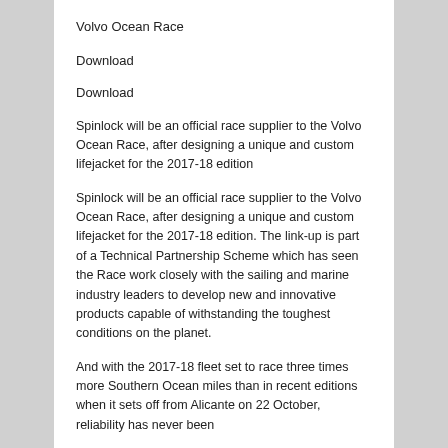Volvo Ocean Race
Download
Download
Spinlock will be an official race supplier to the Volvo Ocean Race, after designing a unique and custom lifejacket for the 2017-18 edition
Spinlock will be an official race supplier to the Volvo Ocean Race, after designing a unique and custom lifejacket for the 2017-18 edition. The link-up is part of a Technical Partnership Scheme which has seen the Race work closely with the sailing and marine industry leaders to develop new and innovative products capable of withstanding the toughest conditions on the planet.
And with the 2017-18 fleet set to race three times more Southern Ocean miles than in recent editions when it sets off from Alicante on 22 October, reliability has never been